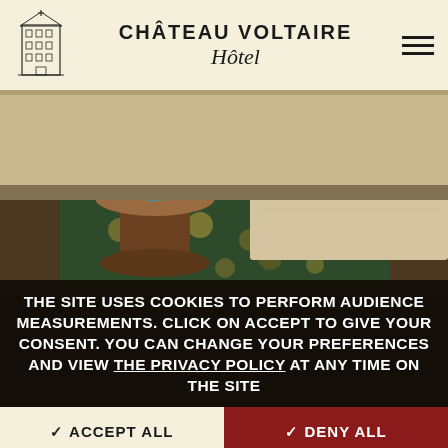CHÂTEAU VOLTAIRE Hôtel
[Figure (photo): Hotel room interior showing a bed with cream/beige bedspread, a round wooden side table, and a floral patterned carpet with green and gold tones. Room has warm, classic decor.]
SUITE JUNIOR
fringed velvet and... canvases... these suites reflect the philosophy of the Chateau and its unostentatious hospitality.
THE SITE USES COOKIES TO PERFORM AUDIENCE MEASUREMENTS. CLICK ON ACCEPT TO GIVE YOUR CONSENT. YOU CAN CHANGE YOUR PREFERENCES AND VIEW THE PRIVACY POLICY AT ANY TIME ON THE SITE
✓ ACCEPT ALL
✓ DENY ALL
BOOK A TABLE
BOOK A ROOM
✏ CUSTOMIZE
CLICK SELECT